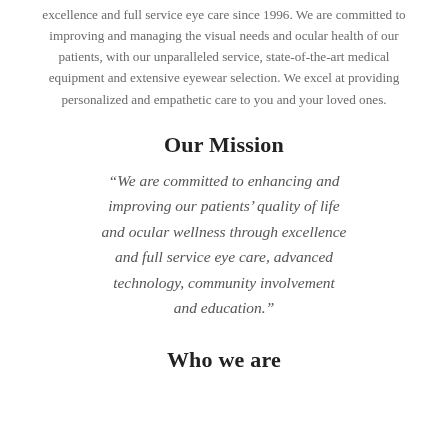excellence and full service eye care since 1996. We are committed to improving and managing the visual needs and ocular health of our patients, with our unparalleled service, state-of-the-art medical equipment and extensive eyewear selection. We excel at providing personalized and empathetic care to you and your loved ones.
Our Mission
“We are committed to enhancing and improving our patients’ quality of life and ocular wellness through excellence and full service eye care, advanced technology, community involvement and education.”
Who we are